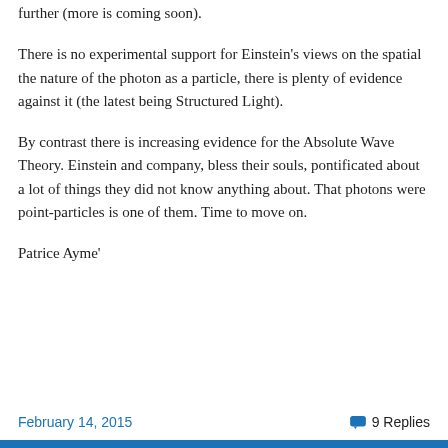further (more is coming soon).
There is no experimental support for Einstein's views on the spatial the nature of the photon as a particle, there is plenty of evidence against it (the latest being Structured Light).
By contrast there is increasing evidence for the Absolute Wave Theory. Einstein and company, bless their souls, pontificated about a lot of things they did not know anything about. That photons were point-particles is one of them. Time to move on.
Patrice Ayme'
February 14, 2015   9 Replies